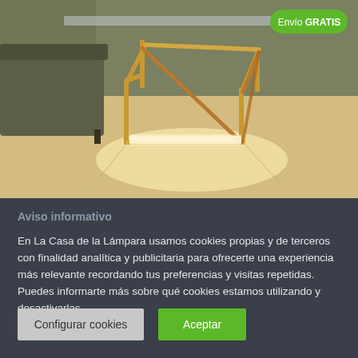[Figure (photo): A geometric cube-frame lamp with metal chrome edges and diagonal bar, glowing LED light at the base, placed on a light floor next to a dark gray sofa. Green badge in top-right corner reads 'Envío GRATIS'.]
Aviso informativo
En La Casa de la Lámpara usamos cookies propias y de terceros con finalidad analítica y publicitaria para ofrecerte una experiencia más relevante recordando tus preferencias y visitas repetidas. Puedes informarte más sobre qué cookies estamos utilizando y desactivarlas.
Configurar cookies
Aceptar